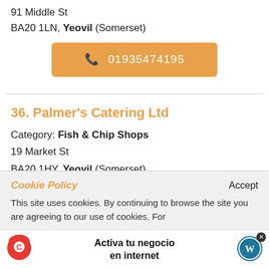91 Middle St
BA20 1LN, Yeovil (Somerset)
01935474195
36. Palmer's Catering Ltd
Category: Fish & Chip Shops
19 Market St
BA20 1HY, Yeovil (Somerset)
Cookie Policy
Accept
This site uses cookies. By continuing to browse the site you are agreeing to our use of cookies. For
Activa tu negocio en internet